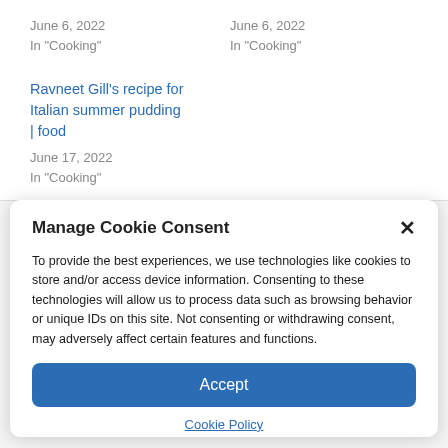June 6, 2022
In "Cooking"
June 6, 2022
In "Cooking"
Ravneet Gill's recipe for Italian summer pudding | food
June 17, 2022
In "Cooking"
Manage Cookie Consent
To provide the best experiences, we use technologies like cookies to store and/or access device information. Consenting to these technologies will allow us to process data such as browsing behavior or unique IDs on this site. Not consenting or withdrawing consent, may adversely affect certain features and functions.
Accept
Cookie Policy